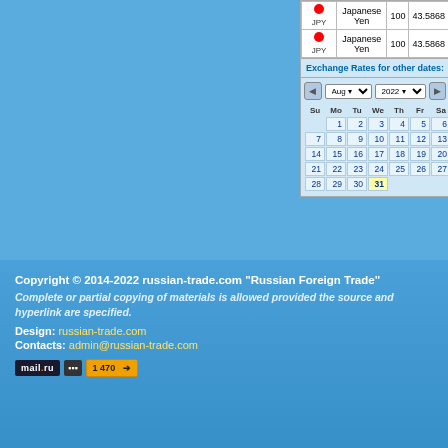| Flag/Code | Currency | Units | Rate |
| --- | --- | --- | --- |
| JPY | Japanese Yen | 100 | 43.5868 |
| JPY | Japanese Yen | 100 | 43.5868 |
Exchange Rates for other dates:
[Figure (other): Calendar widget showing August 2022 with navigation arrows and month/year dropdowns. Days 1-31 shown in a standard calendar grid. Day 31 is highlighted in yellow.]
Copyright © 2014-2022 russian-trade.com "Russian Foreign Trade"
Complete or partial copying of materials is allowed provided the source and hyperlink are specified.
Design: russian-trade.com
Contacts: admin@russian-trade.com